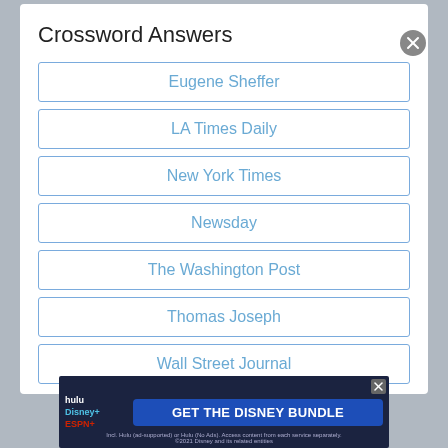Crossword Answers
Eugene Sheffer
LA Times Daily
New York Times
Newsday
The Washington Post
Thomas Joseph
Wall Street Journal
[Figure (screenshot): Advertisement for Disney Bundle featuring Hulu, Disney+, and ESPN+ logos with 'GET THE DISNEY BUNDLE' call to action. Text reads: 'Incl. Hulu (ad-supported) or Hulu (No Ads). Access content from each service separately. ©2021 Disney and its related entities']